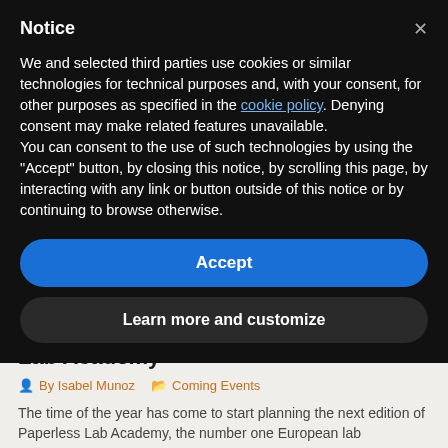Notice
We and selected third parties use cookies or similar technologies for technical purposes and, with your consent, for other purposes as specified in the cookie policy. Denying consent may make related features unavailable.
You can consent to the use of such technologies by using the "Accept" button, by closing this notice, by scrolling this page, by interacting with any link or button outside of this notice or by continuing to browse otherwise.
Accept
Learn more and customize
Lab Academy
By Isabel Munoz   Coming Events
The time of the year has come to start planning the next edition of Paperless Lab Academy, the number one European lab informatics